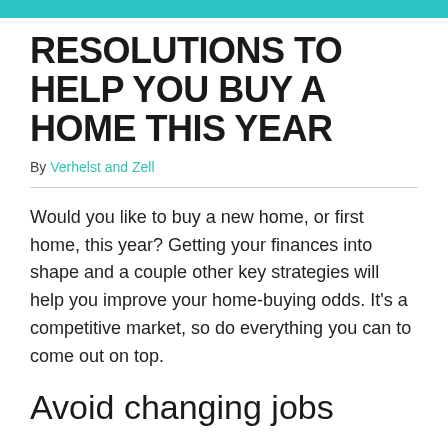RESOLUTIONS TO HELP YOU BUY A HOME THIS YEAR
By Verhelst and Zell
Would you like to buy a new home, or first home, this year? Getting your finances into shape and a couple other key strategies will help you improve your home-buying odds. It’s a competitive market, so do everything you can to come out on top.
Avoid changing jobs